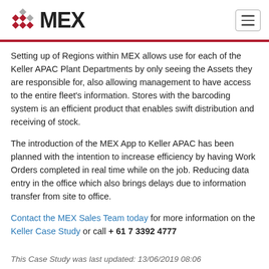MEX
Setting up of Regions within MEX allows use for each of the Keller APAC Plant Departments by only seeing the Assets they are responsible for, also allowing management to have access to the entire fleet's information. Stores with the barcoding system is an efficient product that enables swift distribution and receiving of stock.
The introduction of the MEX App to Keller APAC has been planned with the intention to increase efficiency by having Work Orders completed in real time while on the job. Reducing data entry in the office which also brings delays due to information transfer from site to office.
Contact the MEX Sales Team today for more information on the Keller Case Study or call + 61 7 3392 4777
This Case Study was last updated: 13/06/2019 08:06